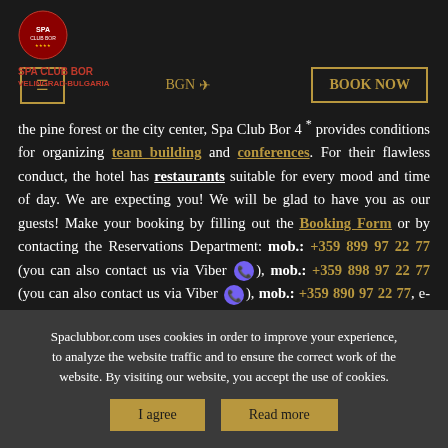[Figure (logo): Spa Club Bor logo with red circular emblem and red text reading SPA CLUB BOR VELINGRAD-BULGARIA]
the pine forest or the city center, Spa Club Bor 4* provides conditions for organizing team building and conferences. For their flawless conduct, the hotel has restaurants suitable for every mood and time of day. We are expecting you! We will be glad to have you as our guests! Make your booking by filling out the Booking Form or by contacting the Reservations Department: mob.: +359 899 97 22 77 (you can also contact us via Viber), mob.: +359 898 97 22 77 (you can also contact us via Viber), mob.: +359 890 97 22 77, e-mail: reservations@spaclubbor.com
Spaclubbor.com uses cookies in order to improve your experience, to analyze the website traffic and to ensure the correct work of the website. By visiting our website, you accept the use of cookies.